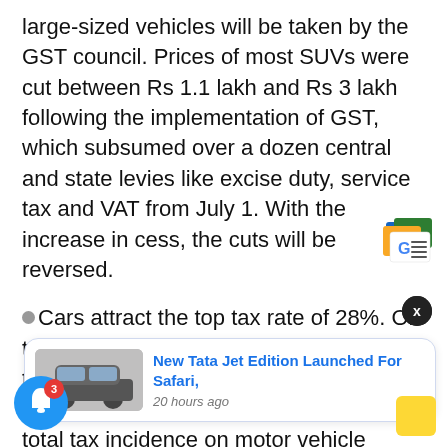large-sized vehicles will be taken by the GST council. Prices of most SUVs were cut between Rs 1.1 lakh and Rs 3 lakh following the implementation of GST, which subsumed over a dozen central and state levies like excise duty, service tax and VAT from July 1. With the increase in cess, the cuts will be reversed.
Cars attract the top tax rate of 28%. On top of this, a cess pf 1-15% is levied for the creation of the state compensation corpus. After the introduction of GST, the total tax incidence on motor vehicles... he total regime.
[Figure (screenshot): Google News app icon overlay in top-right corner]
[Figure (screenshot): Close X button overlay]
[Figure (screenshot): Notification card showing 'New Tata Jet Edition Launched For Safari, 20 hours ago' with a car image thumbnail]
[Figure (screenshot): Blue bell notification button with badge showing 3, bottom left]
[Figure (screenshot): Yellow button bottom right]